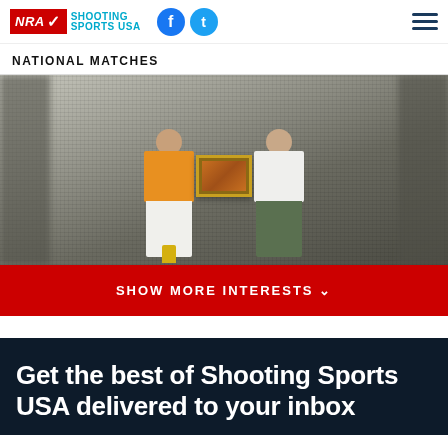NRA Shooting Sports USA
NATIONAL MATCHES
[Figure (photo): Two people standing in front of a black and white historical shooting scene backdrop. One person wears an orange jacket and white pants, the other wears a white polo shirt and grey pants. They are holding a framed award together.]
SHOW MORE INTERESTS ∨
Get the best of Shooting Sports USA delivered to your inbox